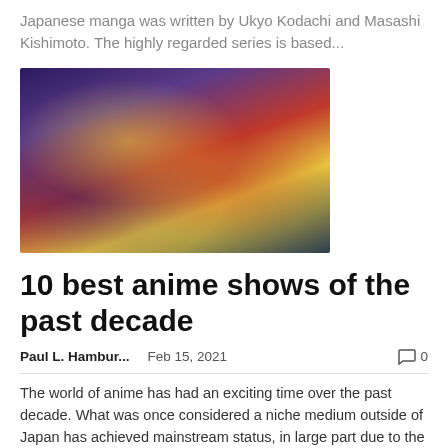Japanese manga was written by Ukyo Kodachi and Masashi Kishimoto. The highly regarded series is based...
[Figure (photo): Anime artwork collage featuring multiple characters including a bald hero in a yellow suit and red gloves surrounded by other anime characters on a colorful background.]
10 best anime shows of the past decade
Paul L. Hambur...    Feb 15, 2021    💬 0
The world of anime has had an exciting time over the past decade. What was once considered a niche medium outside of Japan has achieved mainstream status, in large part due to the quality of animation and storytelling presented by!-->...